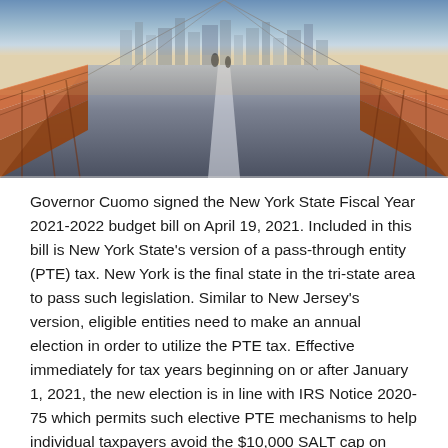[Figure (photo): Aerial perspective photo of the Brooklyn Bridge walkway looking toward Manhattan, with city skyline visible in the background at dusk. The bridge's iconic latticed railing and cables line both sides of the pedestrian path.]
Governor Cuomo signed the New York State Fiscal Year 2021-2022 budget bill on April 19, 2021. Included in this bill is New York State's version of a pass-through entity (PTE) tax. New York is the final state in the tri-state area to pass such legislation. Similar to New Jersey's version, eligible entities need to make an annual election in order to utilize the PTE tax. Effective immediately for tax years beginning on or after January 1, 2021, the new election is in line with IRS Notice 2020-75 which permits such elective PTE mechanisms to help individual taxpayers avoid the $10,000 SALT cap on itemized deductions.
Any eligible partnership or S corporation may make an annual election for the PTE tax. The annual election must be made by...